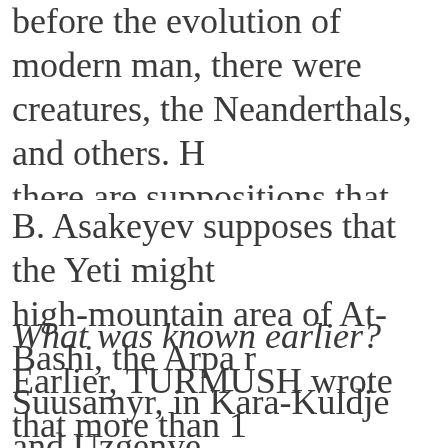before the evolution of modern man, there were creatures, the Neanderthals, and others. However, there are suppositions that relics of such groups of primitive humans, or an evolutionary offshoot of humanity, may have survived in regions with harsh climates, within pristine valleys and large mountain
B. Asakeyev supposes that the Yeti might live in the high-mountain area of At-Bashi, the Arpa river, Suusamyr, in Kara-Kuldje and Uzgenye.
What was known earlier?
Earlier, TURMUSH wrote that more than 10 border servicemen in the Kyrgyzstan border duty spotted tracks of a Snowman in the Arpa valley in the Naryn region. As related by the TURMUS